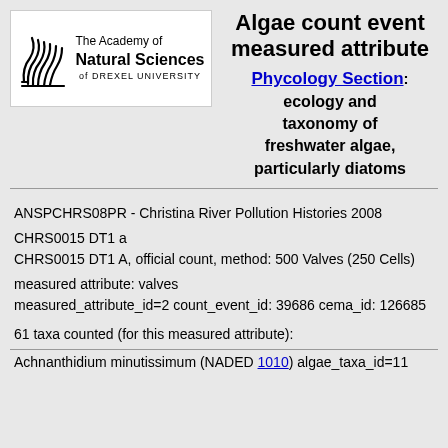Algae count event measured attribute
[Figure (logo): The Academy of Natural Sciences of Drexel University logo with leaf/wave graphic]
Phycology Section: ecology and taxonomy of freshwater algae, particularly diatoms
ANSPCHRS08PR - Christina River Pollution Histories 2008
CHRS0015 DT1 a
CHRS0015 DT1 A, official count, method: 500 Valves (250 Cells)
measured attribute: valves
measured_attribute_id=2 count_event_id: 39686 cema_id: 126685
61 taxa counted (for this measured attribute):
Achnanthidium minutissimum (NADED 1010) algae_taxa_id=11